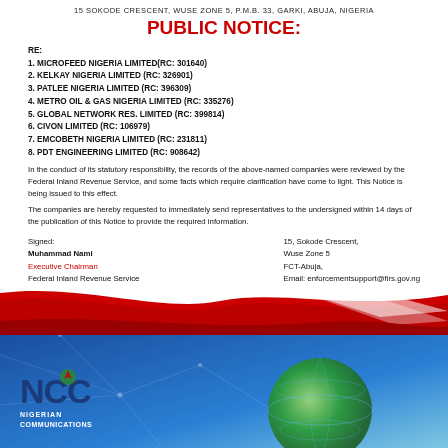15 SOKODE CRESCENT, WUSE ZONE 5, P.M.B. 33, GARKI, ABUJA, NIGERIA
PUBLIC NOTICE:
RE:
1. MICROFEED NIGERIA LIMITED(RC: 301640)
2. KELKAY NIGERIA LIMITED (RC: 326901)
3. PATLEE NIGERIA LIMITED (RC: 396309)
4. METRO OIL & GAS NIGERIA LIMITED (RC: 335276)
5. GLOBAL NETWORK RES. LIMITED (RC: 399814)
6. CIVON LIMITED (RC: 106979)
7. EMCOBETH NIGERIA LIMITED (RC: 231811)
8. PDT ENGINEERING LIMITED (RC: 908642)
In the conduct of its statutory responsibility, the records of the above-named companies were reviewed by the Federal Inland Revenue Service, and some facts which require clarification have come to light. This Notice is being issued to this effect.
The companies are hereby requested to immediately send representatives to the undersigned within 14 days of the publication of this Notice to provide the required information.
Signed:
Muhammad Nami
Executive Chairman
Federal Inland Revenue Service

15, Sokode Crescent,
Wuse Zone 5
FCT-Abuja,
Email: enforcementsupport@firs.gov.ng
[Figure (illustration): Red decorative wave banner with white stripe accents]
[Figure (logo): NCC Nigerian Communications Commission logo with globe graphic on blue gradient background]